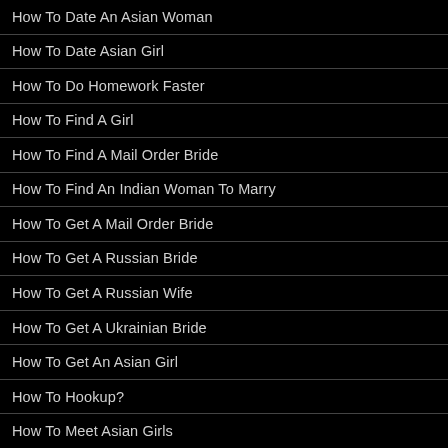How To Date An Asian Woman
How To Date Asian Girl
How To Do Homework Faster
How To Find A Girl
How To Find A Mail Order Bride
How To Find An Indian Woman To Marry
How To Get A Mail Order Bride
How To Get A Russian Bride
How To Get A Russian Wife
How To Get A Ukrainian Bride
How To Get An Asian Girl
How To Hookup?
How To Meet Asian Girls